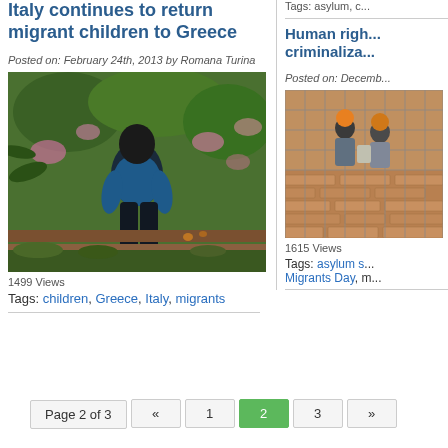Italy continues to return migrant children to Greece
Posted on: February 24th, 2013 by Romana Turina
[Figure (photo): Back view of a child in blue t-shirt standing in a garden with colorful flowers and palm trees]
1499 Views
Tags: children, Greece, Italy, migrants
Tags: asylum, c...
Human righ... criminaliza...
Posted on: Decemb...
[Figure (photo): Workers in hardhats working on brick/tile surface, viewed through fence mesh]
1615 Views
Tags: asylum s..., Migrants Day, m...
Page 2 of 3  «  1  2  3  »